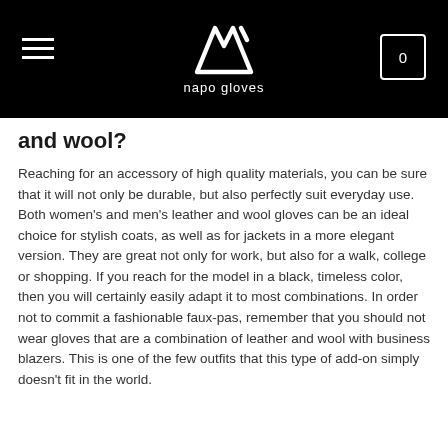napo gloves
and wool?
Reaching for an accessory of high quality materials, you can be sure that it will not only be durable, but also perfectly suit everyday use. Both women's and men's leather and wool gloves can be an ideal choice for stylish coats, as well as for jackets in a more elegant version. They are great not only for work, but also for a walk, college or shopping. If you reach for the model in a black, timeless color, then you will certainly easily adapt it to most combinations. In order not to commit a fashionable faux-pas, remember that you should not wear gloves that are a combination of leather and wool with business blazers. This is one of the few outfits that this type of add-on simply doesn't fit in the world.